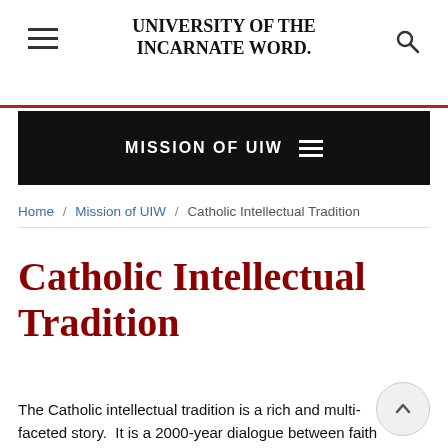UNIVERSITY OF THE INCARNATE WORD
MISSION OF UIW
Home / Mission of UIW / Catholic Intellectual Tradition
Catholic Intellectual Tradition
The Catholic intellectual tradition is a rich and multi-faceted story.  It is a 2000-year dialogue between faith